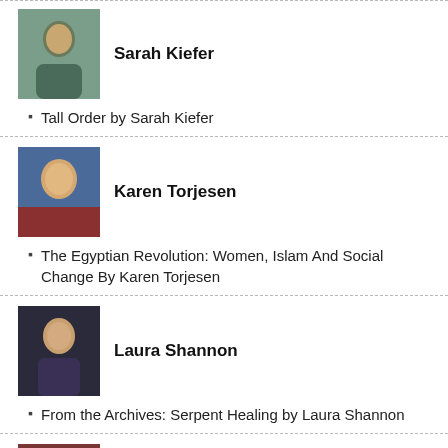[Figure (photo): Photo of Sarah Kiefer]
Sarah Kiefer
Tall Order by Sarah Kiefer
[Figure (photo): Photo of Karen Torjesen]
Karen Torjesen
The Egyptian Revolution: Women, Islam And Social Change By Karen Torjesen
[Figure (photo): Photo of Laura Shannon]
Laura Shannon
From the Archives: Serpent Healing by Laura Shannon
[Figure (photo): Photo of Laura Montoya]
Laura Montoya
Can I get an “Amen” up in here? by Laura Montoya
[Figure (photo): Photo of Laury Silvers]
Laury Silvers